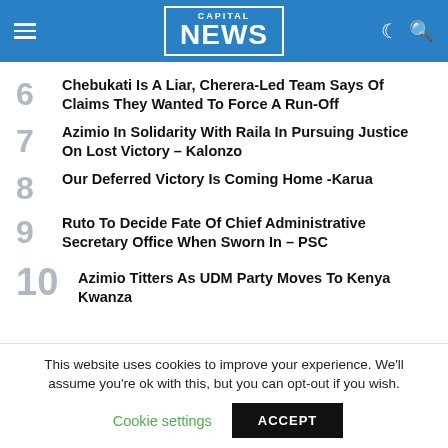Capital NEWS
6 – Chebukati Is A Liar, Cherera-Led Team Says Of Claims They Wanted To Force A Run-Off
7 – Azimio In Solidarity With Raila In Pursuing Justice On Lost Victory – Kalonzo
8 – Our Deferred Victory Is Coming Home -Karua
9 – Ruto To Decide Fate Of Chief Administrative Secretary Office When Sworn In – PSC
10 – Azimio Titters As UDM Party Moves To Kenya Kwanza
This website uses cookies to improve your experience. We'll assume you're ok with this, but you can opt-out if you wish.
Cookie settings    ACCEPT